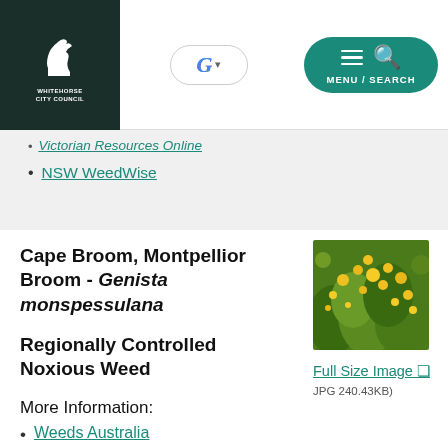Whitehorse City Council | Google Search | MENU / SEARCH
Victorian Resources Online
NSW WeedWise
Cape Broom, Montpellior Broom - Genista monspessulana
Regionally Controlled Noxious Weed
More Information:
[Figure (photo): Photo of Cape Broom / Genista monspessulana plant with yellow flowers and green foliage]
Full Size Image
JPG 240.43KB)
Weeds Australia